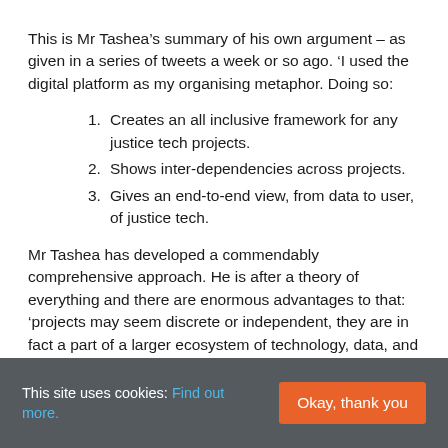This is Mr Tashea's summary of his own argument – as given in a series of tweets a week or so ago. 'I used the digital platform as my organising metaphor. Doing so:
1. Creates an all inclusive framework for any justice tech projects.
2. Shows inter-dependencies across projects.
3. Gives an end-to-end view, from data to user, of justice tech.
Mr Tashea has developed a commendably comprehensive approach. He is after a theory of everything and there are enormous advantages to that: 'projects may seem discrete or independent, they are in fact a part of a larger ecosystem of technology, data, and policy'. His approach
This site uses cookies: Find out more.  Okay, thank you